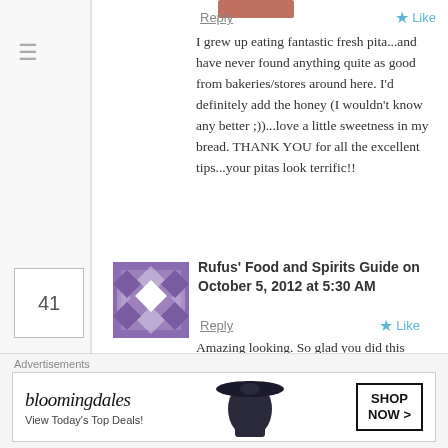Reply
I grew up eating fantastic fresh pita...and have never found anything quite as good from bakeries/stores around here. I'd definitely add the honey (I wouldn't know any better ;))...love a little sweetness in my bread. THANK YOU for all the excellent tips...your pitas look terrific!!
Rufus' Food and Spirits Guide on October 5, 2012 at 5:30 AM
Reply
Amazing looking. So glad you did this post! Also I still need to try THAT dish!
Advertisements
[Figure (screenshot): Bloomingdale's advertisement banner: 'bloomingdales — View Today's Top Deals!' with a woman wearing a wide-brim hat and a 'SHOP NOW >' button]